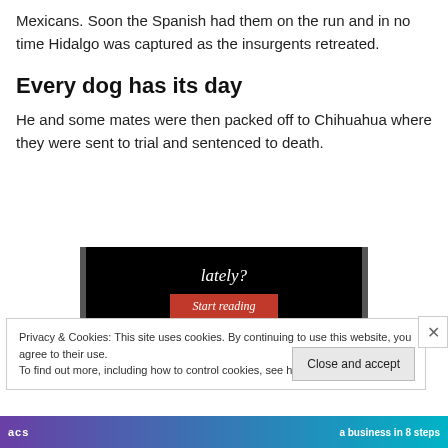Mexicans. Soon the Spanish had them on the run and in no time Hidalgo was captured as the insurgents retreated.
Every dog has its day
He and some mates were then packed off to Chihuahua where they were sent to trial and sentenced to death.
[Figure (screenshot): Dark promotional banner with text 'lately?' in white serif italic font and a red 'Start reading' button below.]
Privacy & Cookies: This site uses cookies. By continuing to use this website, you agree to their use.
To find out more, including how to control cookies, see here: Cookie Policy
[Figure (screenshot): Bottom advertisement banner with purple to teal gradient, showing 'acs' logo text on left and 'a business in 8 steps' on right.]